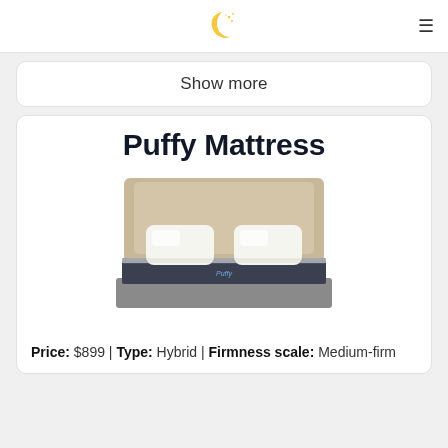🌙 (moon logo icon)
Show more
Puffy Mattress
[Figure (photo): Photo of a Puffy mattress on a beige upholstered bed frame with white pillows]
Price: $899 | Type: Hybrid | Firmness scale: Medium-firm